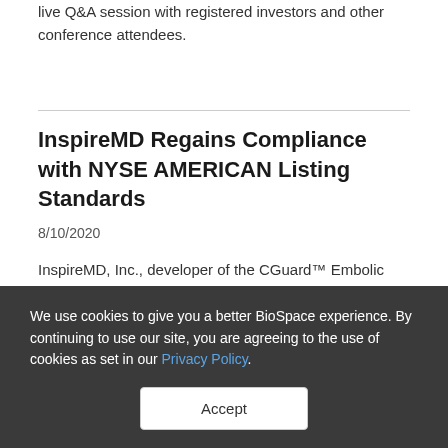live Q&A session with registered investors and other conference attendees.
InspireMD Regains Compliance with NYSE AMERICAN Listing Standards
8/10/2020
InspireMD, Inc., developer of the CGuard™ Embolic Prevention System for the prevention of stroke caused by the treatment of carotid artery disease, announced that as of August 7, 2020, the Company has regained compliance with the NYSE American's continued listing standards.
We use cookies to give you a better BioSpace experience. By continuing to use our site, you are agreeing to the use of cookies as set in our Privacy Policy.